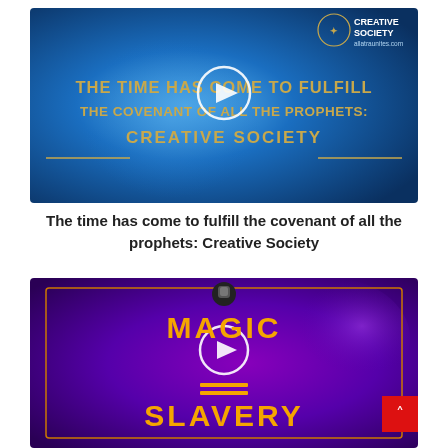[Figure (screenshot): Video thumbnail with blue background showing 'THE TIME HAS COME TO FULFILL THE COVENANT OF ALL THE PROPHETS: CREATIVE SOCIETY' in gold text, Creative Society logo top right, play button overlay]
The time has come to fulfill the covenant of all the prophets: Creative Society
[Figure (screenshot): Video thumbnail with purple background showing 'MAGIC = SLAVERY' in orange text, microphone icon at top, orange border frame, play button overlay, red scroll-to-top button bottom right]